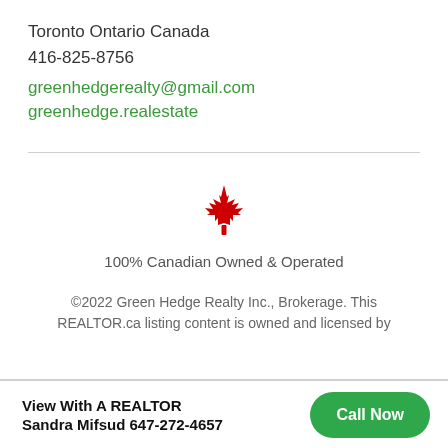Toronto Ontario Canada
416-825-8756
greenhedgerealty@gmail.com
greenhedge.realestate
[Figure (illustration): Red Canadian maple leaf icon]
100% Canadian Owned & Operated
©2022 Green Hedge Realty Inc., Brokerage. This REALTOR.ca listing content is owned and licensed by
View With A REALTOR
Sandra Mifsud 647-272-4657
Call Now